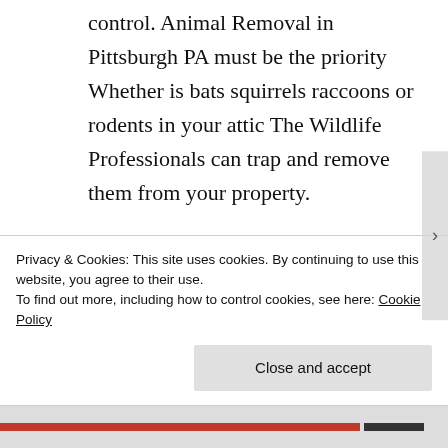control. Animal Removal in Pittsburgh PA must be the priority Whether is bats squirrels raccoons or rodents in your attic The Wildlife Professionals can trap and remove them from your property.
Raccoon Removal service in Pittsburgh PA.
Privacy & Cookies: This site uses cookies. By continuing to use this website, you agree to their use.
To find out more, including how to control cookies, see here: Cookie Policy